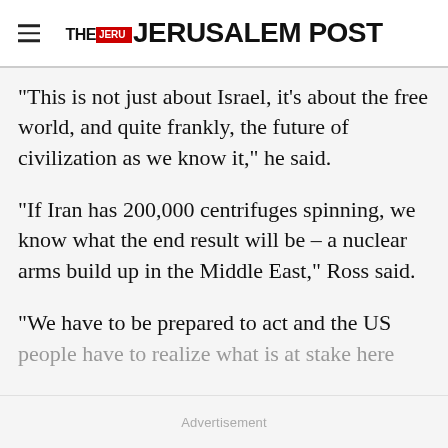THE JERUSALEM POST
“This is not just about Israel, it’s about the free world, and quite frankly, the future of civilization as we know it,” he said.
“If Iran has 200,000 centrifuges spinning, we know what the end result will be – a nuclear arms build up in the Middle East,” Ross said.
“We have to be prepared to act and the US people have to realize what is at stake here
Advertisement